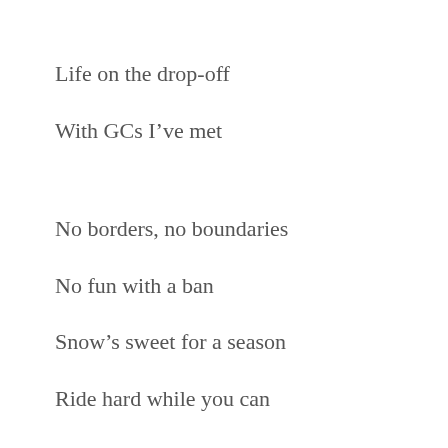Life on the drop-off
With GCs I’ve met
No borders, no boundaries
No fun with a ban
Snow’s sweet for a season
Ride hard while you can